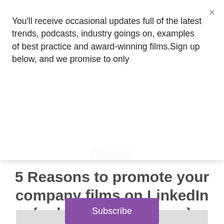You'll receive occasional updates full of the latest trends, podcasts, industry goings on, examples of best practice and award-winning films.Sign up below, and we promise to only
Subscribe
News
5 Reasons to promote your company films on LinkedIn (or let us do it for you)
[Figure (photo): Partially visible image at the bottom of the page]